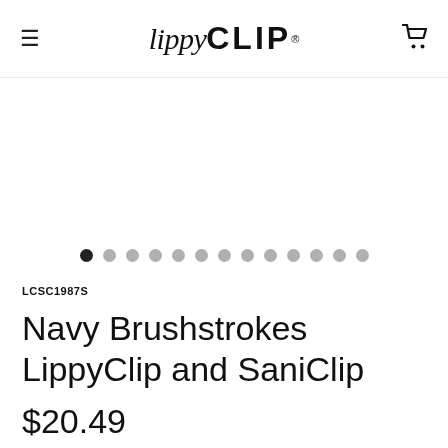lippyCLIP®
[Figure (other): Product image carousel with navigation dots (13 dots, first dot active/dark, rest gray). Product image area appears mostly white/blank.]
LCSC1987S
Navy Brushstrokes LippyClip and SaniClip
$20.49